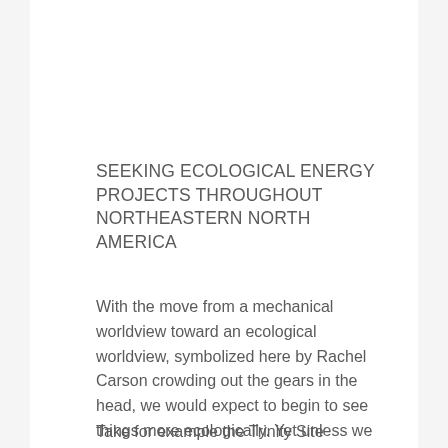SEEKING ECOLOGICAL ENERGY PROJECTS THROUGHOUT NORTHEASTERN NORTH AMERICA
With the move from a mechanical worldview toward an ecological worldview, symbolized here by Rachel Carson crowding out the gears in the head, we would expect to begin to see things more ecologically. Yet unless we translate this ecological worldview into action and direct experience, our discovery of ecology will remain little more than an anxiety-producing abstraction.
Take for example the Trinity Site explosion of the